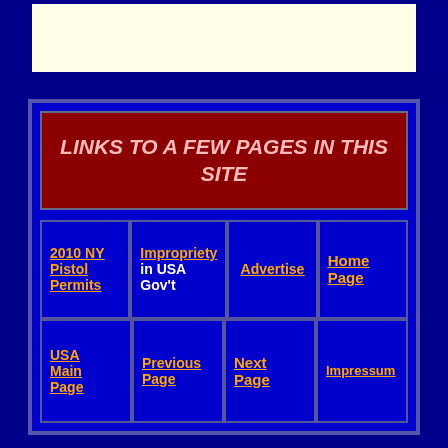[Figure (other): Cream/beige colored rectangular banner at the top of the page]
LINKS TO A FEW PAGES IN THIS SITE
| 2010 NY Pistol Permits | Impropriety in USA Gov't | Advertise | Home Page |
| USA Main Page | Previous Page | Next Page | Impressum |